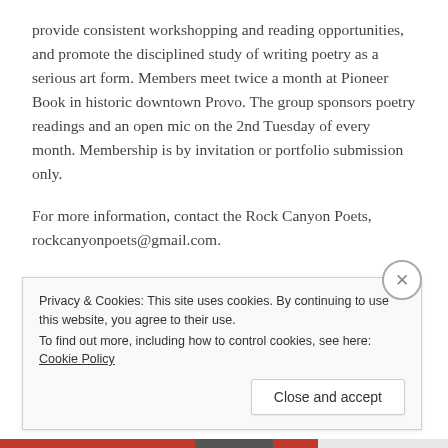provide consistent workshopping and reading opportunities, and promote the disciplined study of writing poetry as a serious art form. Members meet twice a month at Pioneer Book in historic downtown Provo. The group sponsors poetry readings and an open mic on the 2nd Tuesday of every month. Membership is by invitation or portfolio submission only.
For more information, contact the Rock Canyon Poets, rockcanyonpoets@gmail.com.
Privacy & Cookies: This site uses cookies. By continuing to use this website, you agree to their use.
To find out more, including how to control cookies, see here: Cookie Policy